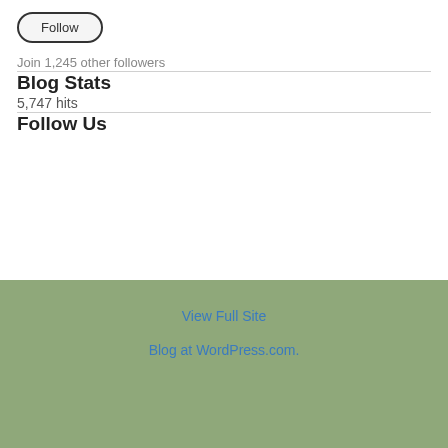[Figure (other): Follow button — rounded rectangle button with label 'Follow']
Join 1,245 other followers
Blog Stats
5,747 hits
Follow Us
View Full Site
Blog at WordPress.com.